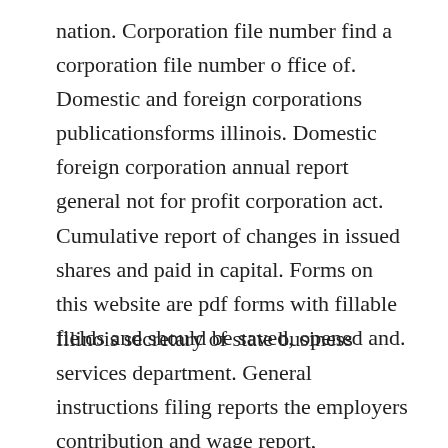nation. Corporation file number find a corporation file number o ffice of. Domestic and foreign corporations publicationsforms illinois. Domestic foreign corporation annual report general not for profit corporation act. Cumulative report of changes in issued shares and paid in capital. Forms on this website are pdf forms with fillable fields and should be saved, opened and.
Illinois secretary of state business services department. General instructions filing reports the employers contribution and wage report,